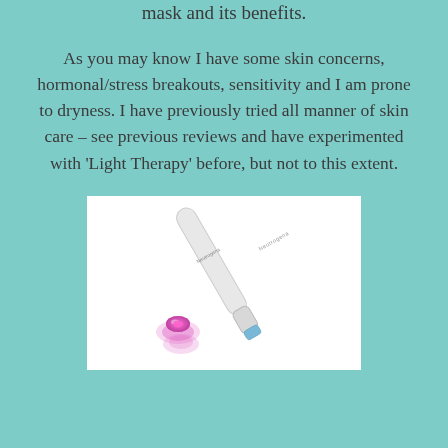mask and its benefits.
As you may know I have some skin concerns, hormonal/stress breakouts, sensitivity and I am prone to dryness. I have previously tried all manner of skin care – see previous reviews and have experimented with ‘Light Therapy’ before, but not to this extent.
[Figure (photo): A white Neutrogena light therapy pen device with a pink/purple LED light glowing at its tip, shown on a white background.]